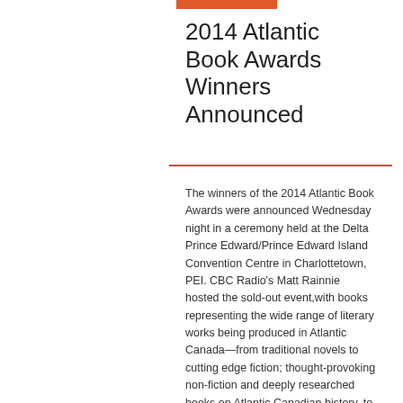2014 Atlantic Book Awards Winners Announced
The winners of the 2014 Atlantic Book Awards were announced Wednesday night in a ceremony held at the Delta Prince Edward/Prince Edward Island Convention Centre in Charlottetown, PEI. CBC Radio's Matt Rainnie hosted the sold-out event,with books representing the wide range of literary works being produced in Atlantic Canada—from traditional novels to cutting edge fiction; thought-provoking non-fiction and deeply researched books on Atlantic Canadian history, to